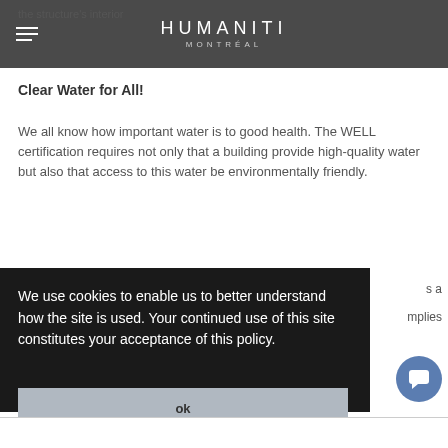HUMANITI MONTRÉAL
the structure's interior
Clear Water for All!
We all know how important water is to good health. The WELL certification requires not only that a building provide high-quality water but also that access to this water be environmentally friendly.
We use cookies to enable us to better understand how the site is used. Your continued use of this site constitutes your acceptance of this policy.
ok